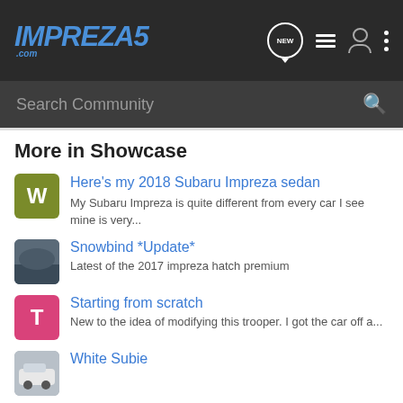IMPREZA5.com — navigation header with logo and icons
Search Community
More in Showcase
Here's my 2018 Subaru Impreza sedan
My Subaru Impreza is quite different from every car I see mine is very...
Snowbind *Update*
Latest of the 2017 impreza hatch premium
Starting from scratch
New to the idea of modifying this trooper. I got the car off a...
White Subie
Blue Boomer